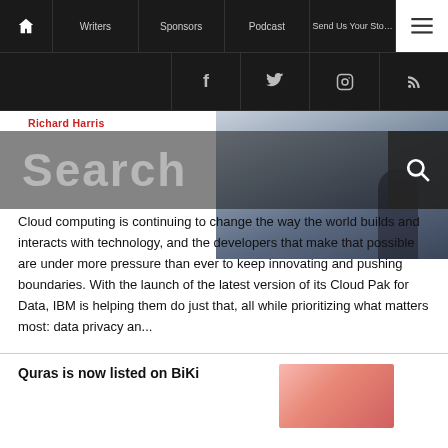Home | Writers | Sponsors | Podcast | Send Us Your Story | Menu
Facebook | Twitter | Instagram | RSS
Richard Harris
[Figure (screenshot): Search overlay with large text 'Search' and search icon button on right; article hero image showing a person sitting on a ledge overlooking a city skyline]
Cloud computing is continuing to change the way the world builds and interacts with technology, and the developers that make that possible are under more pressure than ever to keep innovating and pushing boundaries. With the launch of the latest version of its Cloud Pak for Data, IBM is helping them do just that, all while prioritizing what matters most: data privacy an...
Quras is now listed on BiKi